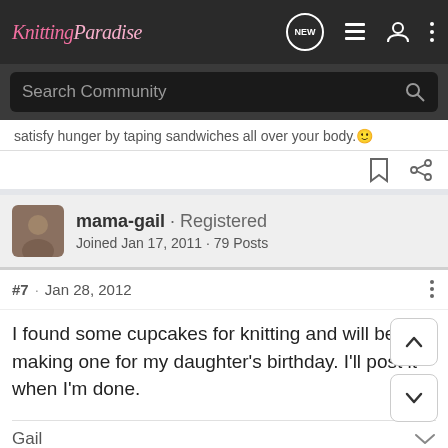Knitting Paradise
satisfy hunger by taping sandwiches all over your body.
mama-gail · Registered
Joined Jan 17, 2011 · 79 Posts
#7 · Jan 28, 2012
I found some cupcakes for knitting and will be making one for my daughter's birthday. I'll post it when I'm done.
Gail